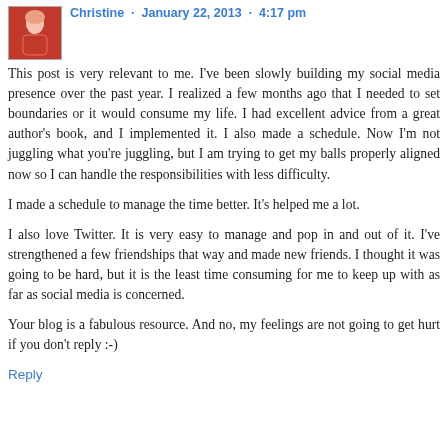Christine · January 22, 2013 · 4:17 pm
This post is very relevant to me. I've been slowly building my social media presence over the past year. I realized a few months ago that I needed to set boundaries or it would consume my life. I had excellent advice from a great author's book, and I implemented it. I also made a schedule. Now I'm not juggling what you're juggling, but I am trying to get my balls properly aligned now so I can handle the responsibilities with less difficulty.
I made a schedule to manage the time better. It's helped me a lot.
I also love Twitter. It is very easy to manage and pop in and out of it. I've strengthened a few friendships that way and made new friends. I thought it was going to be hard, but it is the least time consuming for me to keep up with as far as social media is concerned.
Your blog is a fabulous resource. And no, my feelings are not going to get hurt if you don't reply :-)
Reply